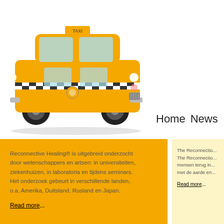[Figure (photo): Yellow toy taxi cab (checker cab) on white background]
Home   News
Reconnective Healing® is uitgebreid onderzocht door wetenschappers en artsen: in universiteiten, ziekenhuizen, in laboratoria en tijdens seminars. Het onderzoek gebeurt in verschillende landen, o.a. Amerika, Duitsland, Rusland en Japan.

Read more...
The Reconnectio... The Reconnectio... mensen terug in... met de aarde en...

Read more...
[Figure (photo): Abstract artwork with blues, greens and warm tones — painting or mixed media]
Atelier 07
Each and every artist somebody. Also each truly as possible. By m Atelier07 has found a last a lifetime...